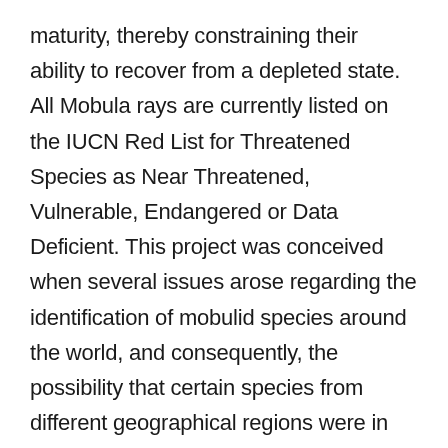maturity, thereby constraining their ability to recover from a depleted state. All Mobula rays are currently listed on the IUCN Red List for Threatened Species as Near Threatened, Vulnerable, Endangered or Data Deficient. This project was conceived when several issues arose regarding the identification of mobulid species around the world, and consequently, the possibility that certain species from different geographical regions were in fact the same species. This has resulted in most mobulid species receiving inadequate protection even when considered to be vulnerable due to fishing pressure. International conventions such as CITES have not accepted submissions for a Mobula listing due to the